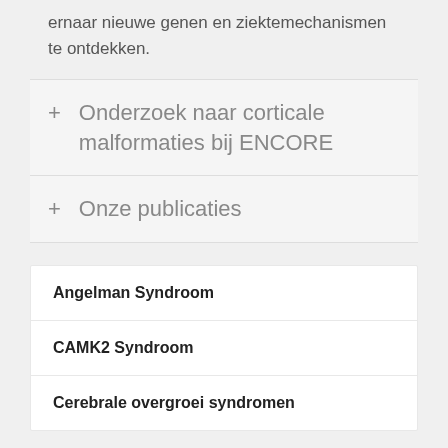ernaar nieuwe genen en ziektemechanismen te ontdekken.
+ Onderzoek naar corticale malformaties bij ENCORE
+ Onze publicaties
Angelman Syndroom
CAMK2 Syndroom
Cerebrale overgroei syndromen